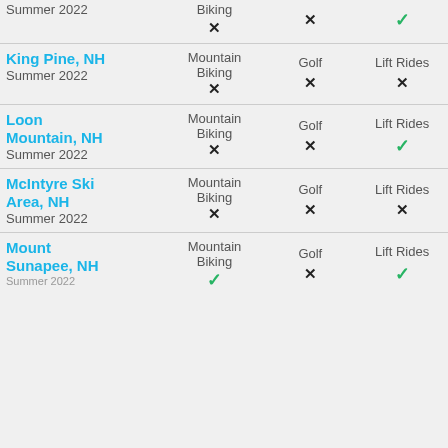| Resort | Mountain Biking | Golf | Lift Rides |
| --- | --- | --- | --- |
| (partial) Summer 2022 | ✗ | ✗ | ✓ |
| King Pine, NH
Summer 2022 | ✗ | ✗ | ✗ |
| Loon Mountain, NH
Summer 2022 | ✗ | ✗ | ✓ |
| McIntyre Ski Area, NH
Summer 2022 | ✗ | ✗ | ✗ |
| Mount Sunapee, NH
Summer 2022 | ✓ | ✗ | ✓ |